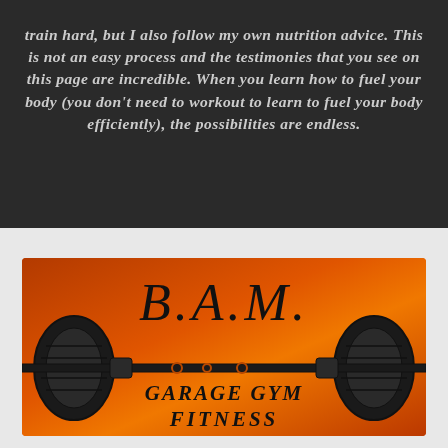train hard, but I also follow my own nutrition advice. This is not an easy process and the testimonies that you see on this page are incredible. When you learn how to fuel your body (you don't need to workout to learn to fuel your body efficiently), the possibilities are endless.
[Figure (logo): B.A.M. Garage Gym Fitness logo — black text on orange/red gradient background with a barbell illustration]